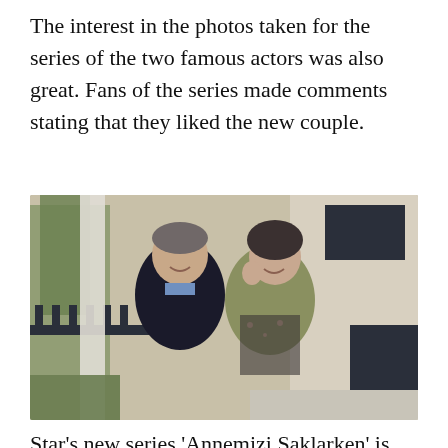The interest in the photos taken for the series of the two famous actors was also great. Fans of the series made comments stating that they liked the new couple.
[Figure (photo): Two actors posing together outdoors in front of a house with dark railings and pillars. A man in a dark sweater with a light blue collar shirt and a woman in a floral dress with an olive/khaki jacket stand close together smiling at the camera.]
Star's new series 'Annemizi Saklarken' is starting soon, with its strong cast and